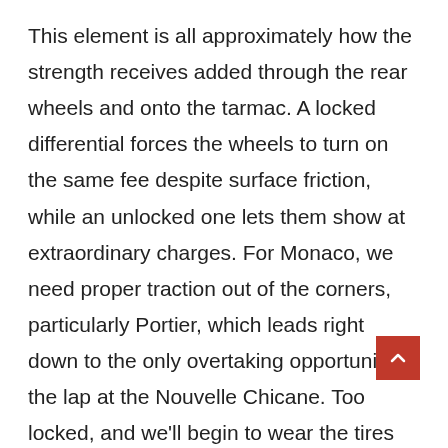This element is all approximately how the strength receives added through the rear wheels and onto the tarmac. A locked differential forces the wheels to turn on the same fee despite surface friction, while an unlocked one lets them show at extraordinary charges. For Monaco, we need proper traction out of the corners, particularly Portier, which leads right down to the only overtaking opportunity of the lap at the Nouvelle Chicane. Too locked, and we'll begin to wear the tires too much. Monaco is very kind to tires; however, afterward, we can take advantage of that reality inside the setup, so we can too much right here. We lock up the on throttle differential to 86 percent to get excellent traction and then set a seventy-six percentage off throttle differential to allow the tires to rotate freely at turn-in. This creates a smoother